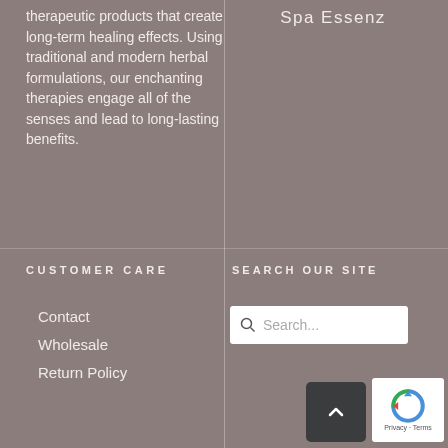therapeutic products that create long-term healing effects. Using traditional and modern herbal formulations, our enchanting therapies engage all of the senses and lead to long-lasting benefits.
Spa Essenz
CUSTOMER CARE
SEARCH OUR SITE
Contact
Wholesale
Return Policy
[Figure (screenshot): Search input box with magnifying glass icon and placeholder text 'Search...']
[Figure (other): Back to top button (dark square with upward caret arrow) and reCAPTCHA privacy badge]